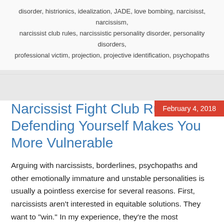disorder, histrionics, idealization, JADE, love bombing, narcisisst, narcissism, narcissist club rules, narcissistic personality disorder, personality disorders, professional victim, projection, projective identification, psychopaths
February 4, 2018
Narcissist Fight Club Rule #5: Defending Yourself Makes You More Vulnerable
Arguing with narcissists, borderlines, psychopaths and other emotionally immature and unstable personalities is usually a pointless exercise for several reasons. First, narcissists aren't interested in equitable solutions. They want to "win." In my experience, they're the most determined to win (i.e., punish you), when they're objectively wrong. They take perverse pleasure in getting